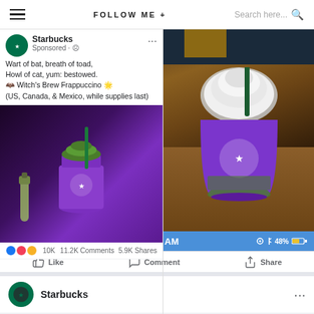FOLLOW ME + | Search here...
[Figure (screenshot): Starbucks Facebook sponsored post showing Witch's Brew Frappuccino with purple cup and green topping against dark background, with reactions showing 10K likes, 11.2K comments, 5.9K shares]
[Figure (photo): Real photo of Starbucks Witch's Brew Frappuccino in purple cup with white whipped cream topping and green straw, sitting on a wooden table in a Starbucks store]
[Figure (screenshot): iOS status bar showing Verizon carrier, WiFi, 11:47 AM time, location, bluetooth icons, and 48% battery]
Like   Comment   Share
[Figure (logo): Starbucks circular green logo]